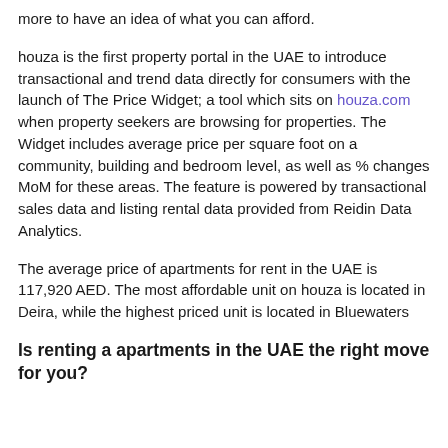more to have an idea of what you can afford.
houza is the first property portal in the UAE to introduce transactional and trend data directly for consumers with the launch of The Price Widget; a tool which sits on houza.com when property seekers are browsing for properties. The Widget includes average price per square foot on a community, building and bedroom level, as well as % changes MoM for these areas. The feature is powered by transactional sales data and listing rental data provided from Reidin Data Analytics.
The average price of apartments for rent in the UAE is 117,920 AED. The most affordable unit on houza is located in Deira, while the highest priced unit is located in Bluewaters
Is renting a apartments in the UAE the right move for you?